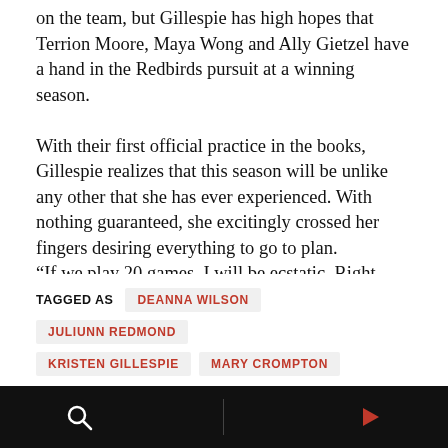on the team, but Gillespie has high hopes that Terrion Moore, Maya Wong and Ally Gietzel have a hand in the Redbirds pursuit at a winning season.
With their first official practice in the books, Gillespie realizes that this season will be unlike any other that she has ever experienced. With nothing guaranteed, she excitingly crossed her fingers desiring everything to go to plan.
“If we play 20 games, I will be ecstatic. Right now, though, we are focusing on what we can control.”
Jake Fogal contributed to this story
TAGGED AS  DEANNA WILSON  JULIUNN REDMOND  KRISTEN GILLESPIE  MARY CROMPTON